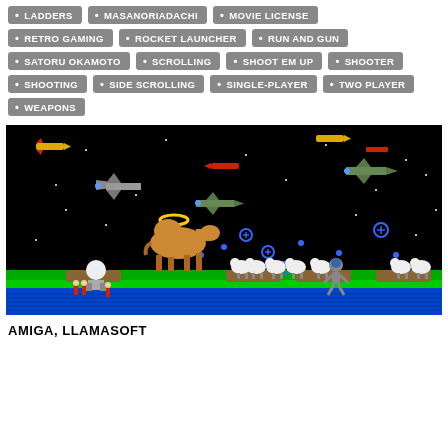LADDERS • MASANORIADACHI • MOVIE LICENSE
RETRO GAMING • ROCKET LAUNCHER • RUN AND GUN
SATORU OKAMOTO • SCROLLING • SHOOT EM UP • SHOOTER
SHOOTING • SIDE SCROLLING • SINGLE-PLAYER • TWO PLAYER
WEAPONS
[Figure (screenshot): Retro video game screenshot showing a black sky with airplanes and missiles in the upper portion, and a ground level with sheep, a camel with a halo, a player character, and green/blue terrain at the bottom.]
AMIGA, LLAMASOFT